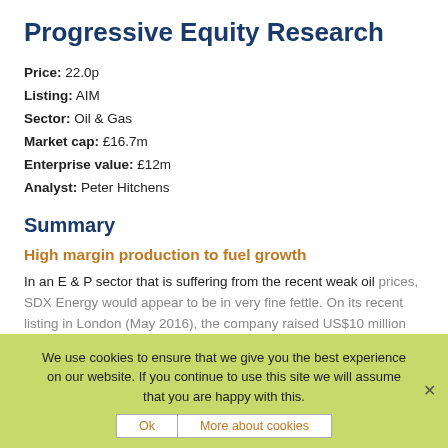Progressive Equity Research
Price: 22.0p
Listing: AIM
Sector: Oil & Gas
Market cap: £16.7m
Enterprise value: £12m
Analyst: Peter Hitchens
Summary
High margin production to fuel growth
In an E & P sector that is suffering from the recent weak oil prices, SDX Energy would appear to be in very fine fettle. On its recent listing in London (May 2016), the company raised US$10 million (net of expenses) to leave it, at the time, with net cash balance of US$14 million. Although the company is spending heavily this year to boost production, it should still have net cash at the end of the
We use cookies to ensure that we give you the best experience on our website. If you continue to use this site we will assume that you are happy with this.